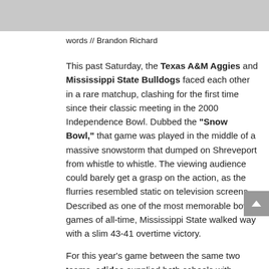[Figure (photo): Partial photo of football players at the top of the page, cropped to show only the lower portion]
words // Brandon Richard
This past Saturday, the Texas A&M Aggies and Mississippi State Bulldogs faced each other in a rare matchup, clashing for the first time since their classic meeting in the 2000 Independence Bowl. Dubbed the "Snow Bowl," that game was played in the middle of a massive snowstorm that dumped on Shreveport from whistle to whistle. The viewing audience could barely get a grasp on the action, as the flurries resembled static on television screens. Described as one of the most memorable bowl games of all-time, Mississippi State walked way with a slim 43-41 overtime victory.

For this year's game between the same two teams, adidas supplied both schools with special "Snow Bowl" TECHFIT uniforms, paying tribute to their epic showdown 12 years ago.